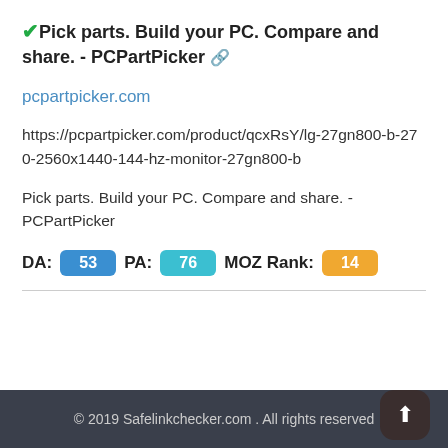✔Pick parts. Build your PC. Compare and share. - PCPartPicker 🔗
pcpartpicker.com
https://pcpartpicker.com/product/qcxRsY/lg-27gn800-b-270-2560x1440-144-hz-monitor-27gn800-b
Pick parts. Build your PC. Compare and share. - PCPartPicker
DA: 53  PA: 76  MOZ Rank: 14
© 2019 Safelinkchecker.com . All rights reserved